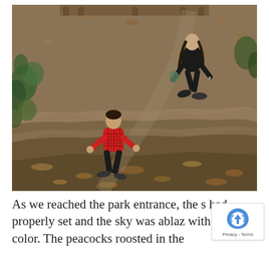[Figure (photo): Outdoor nature trail photo showing two people climbing up a rocky, leaf-covered hillside path. A young child in a red plaid jacket is in the foreground on the lower left, and an adult/teenager in black clothing is further up the path. The terrain is rugged with exposed rock ledges, dry leaves, and patches of green vegetation on the left side.]
As we reached the park entrance, the s had properly set and the sky was ablaz with color. The peacocks roosted in the